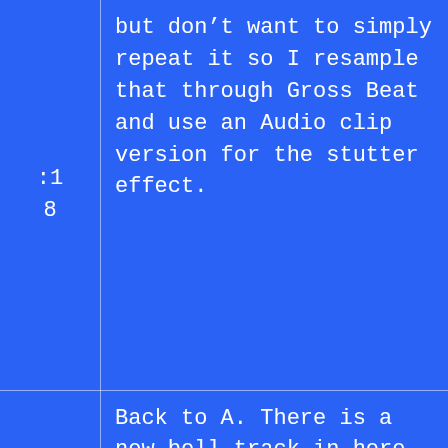| Time | Content |
| --- | --- |
| :18 | but don’t want to simply repeat it so I resample that through Gross Beat and use an Audio clip version for the stutter effect. |
| 2:23 | Back to A. There is a new bell track in here, again using Redux to downsample. With that there are are 4 countermelodies working together. |
|  | Since we’ve heard the A part a few times, I don’t |